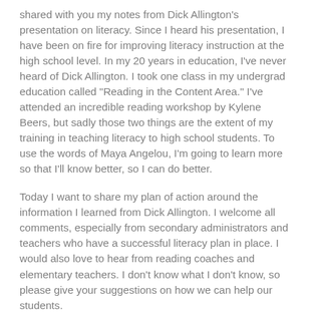shared with you my notes from Dick Allington's presentation on literacy. Since I heard his presentation, I have been on fire for improving literacy instruction at the high school level. In my 20 years in education, I've never heard of Dick Allington. I took one class in my undergrad education called "Reading in the Content Area." I've attended an incredible reading workshop by Kylene Beers, but sadly those two things are the extent of my training in teaching literacy to high school students. To use the words of Maya Angelou, I'm going to learn more so that I'll know better, so I can do better.
Today I want to share my plan of action around the information I learned from Dick Allington. I welcome all comments, especially from secondary administrators and teachers who have a successful literacy plan in place. I would also love to hear from reading coaches and elementary teachers. I don't know what I don't know, so please give your suggestions on how we can help our students.
Phase I - Share Information